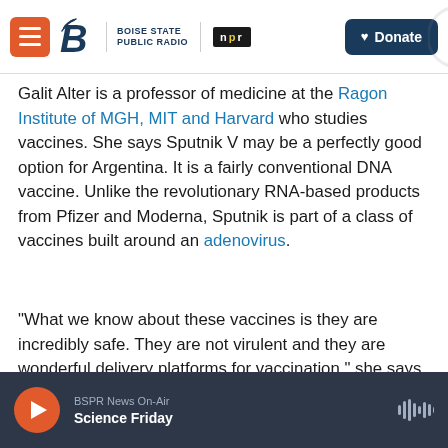Boise State Public Radio | NPR | Donate
Galit Alter is a professor of medicine at the Ragon Institute of MGH, MIT and Harvard who studies vaccines. She says Sputnik V may be a perfectly good option for Argentina. It is a fairly conventional DNA vaccine. Unlike the revolutionary RNA-based products from Pfizer and Moderna, Sputnik is part of a class of vaccines built around an adenovirus.
"What we know about these vaccines is they are incredibly safe. They are not virulent and they are wonderful delivery platforms for vaccination," she says.
BSPR News On-Air | Science Friday